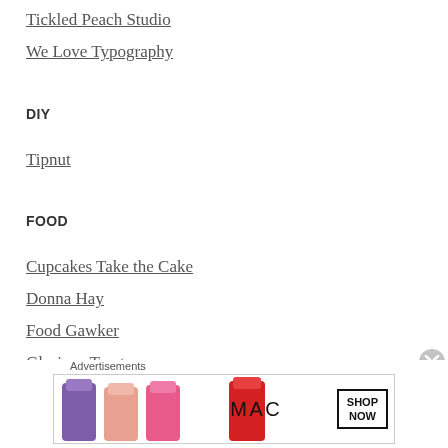Tickled Peach Studio
We Love Typography
DIY
Tipnut
FOOD
Cupcakes Take the Cake
Donna Hay
Food Gawker
Glorious Treats
Hello Naomi
Advertisements
[Figure (other): MAC cosmetics advertisement banner showing lipsticks with 'SHOP NOW' button]